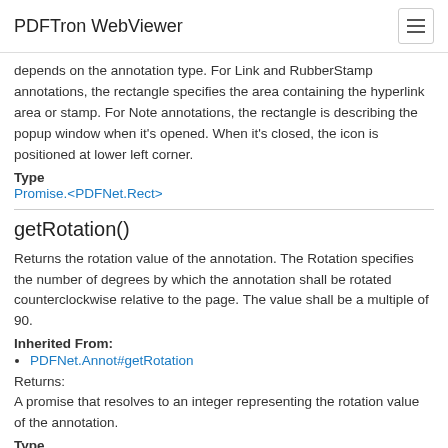PDFTron WebViewer
depends on the annotation type. For Link and RubberStamp annotations, the rectangle specifies the area containing the hyperlink area or stamp. For Note annotations, the rectangle is describing the popup window when it's opened. When it's closed, the icon is positioned at lower left corner.
Type
Promise.<PDFNet.Rect>
getRotation()
Returns the rotation value of the annotation. The Rotation specifies the number of degrees by which the annotation shall be rotated counterclockwise relative to the page. The value shall be a multiple of 90.
Inherited From:
PDFNet.Annot#getRotation
Returns:
A promise that resolves to an integer representing the rotation value of the annotation.
Type
Promise.<number>